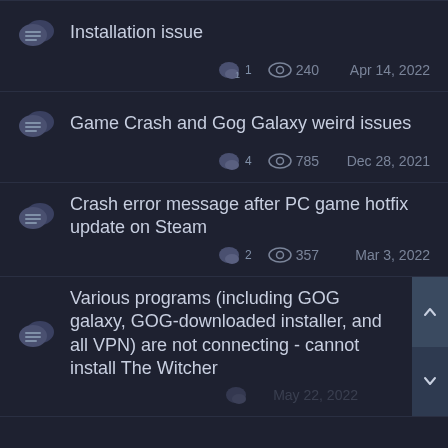Installation issue — 1 reply, 240 views, Apr 14, 2022
Game Crash and Gog Galaxy weird issues — 4 replies, 785 views, Dec 28, 2021
Crash error message after PC game hotfix update on Steam — 2 replies, 357 views, Mar 3, 2022
Various programs (including GOG galaxy, GOG-downloaded installer, and all VPN) are not connecting - cannot install The Witcher 3 — May 22, 2022